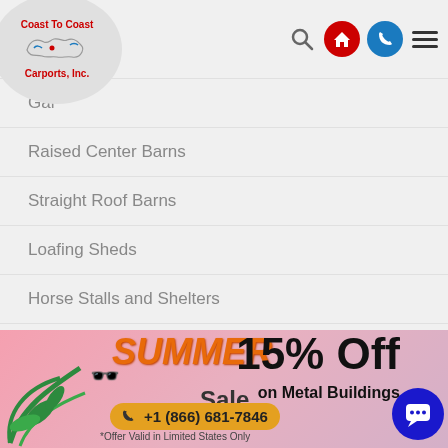[Figure (logo): Coast To Coast Carports, Inc. logo in a circle with a map outline of the USA]
Gar...
Raised Center Barns
Straight Roof Barns
Loafing Sheds
Horse Stalls and Shelters
Riding Arenas
Metal Barn Prices
Quick Links
Rent-To-Own
[Figure (infographic): Summer Sale banner with '15% Off on Metal Buildings' and phone number +1 (866) 681-7846, offer valid in limited states only]